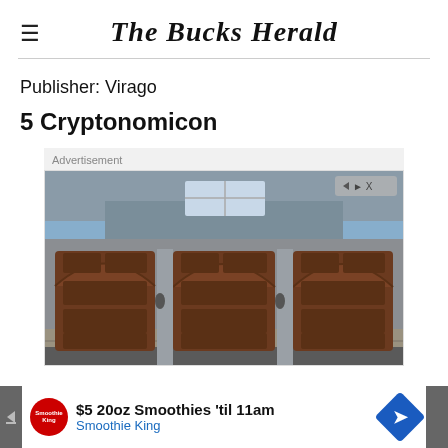The Bucks Herald
Publisher: Virago
5 Cryptonomicon
[Figure (photo): Advertisement showing a house with three wooden garage doors. A secondary ad bar at the bottom shows a Smoothie King promotion: '$5 20oz Smoothies 'til 11am' with Smoothie King logo and a blue diamond arrow icon.]